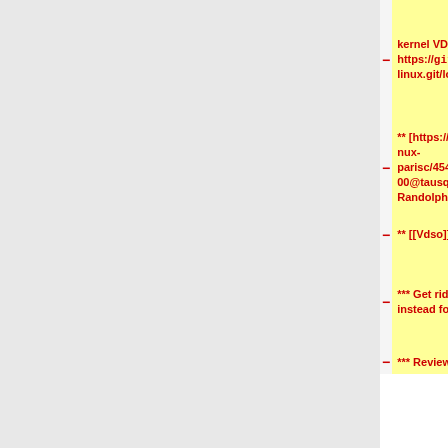| -/+ | Left (TODO) | + | Right (Done) |
| --- | --- | --- | --- |
| - | kernel VDSO support - https://git.kernel.org/pub/scm/linux/kernel/git/deller/parisc-linux.git/log/?h=vdso | + | CONFIG_MLONGCALLS, only 14MB/s with debian kernel and dd if=/dev/zero of=here bs=1k count=100000 ? |
| - | ** [https://lore.kernel.org/linux-parisc/4544A34A.6080700@tausq.org/ Randolphs patch] | + | * NO_IRQ -> should be converted to (0) instead of (-1) -> Helge (check assembly, check in drivers/parisc/*) |
| - | ** [[Vdso]] | + | * check assembly in drivers/parisc/* |
| - | *** Get rid of executable stack, maybe use gateway page instead for signal returns? | + | * STARTED by Sven: Fix kexec on PA8800/PA8900 CPUs: how to restart the CPUs on these systems? |
| - | *** Review gettimeofday and clock_gettime() implementation, | + | * STARTED: |